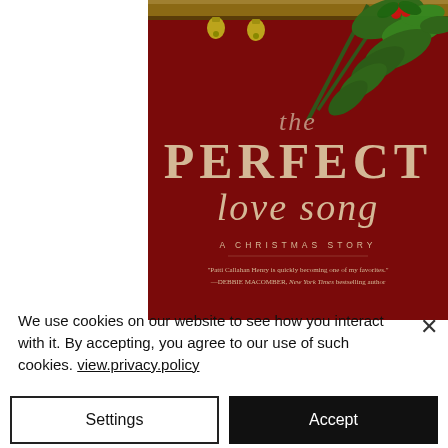[Figure (illustration): Book cover for 'The Perfect Love Song: A Christmas Story' by Patti Callahan Henry. Deep red background with pine branches and holly at top, decorative bell ornaments hanging from a wooden bar. Title text in cream/gold serif fonts. Quote from Debbie Macomber at bottom.]
We use cookies on our website to see how you interact with it. By accepting, you agree to our use of such cookies. view.privacy.policy
Settings
Accept